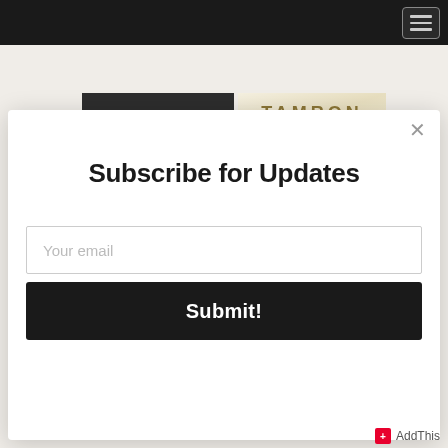[Figure (screenshot): Website screenshot showing a modal subscription popup over a webpage with Entrepreneur and Tamron Hall logos in the background. The modal contains a 'Subscribe for Updates' heading, an email input field, and a Submit button.]
Subscribe for Updates
Your email
Submit!
AddThis